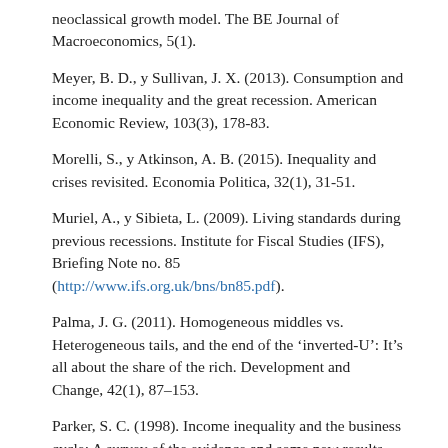neoclassical growth model. The BE Journal of Macroeconomics, 5(1).
Meyer, B. D., y Sullivan, J. X. (2013). Consumption and income inequality and the great recession. American Economic Review, 103(3), 178-83.
Morelli, S., y Atkinson, A. B. (2015). Inequality and crises revisited. Economia Politica, 32(1), 31-51.
Muriel, A., y Sibieta, L. (2009). Living standards during previous recessions. Institute for Fiscal Studies (IFS), Briefing Note no. 85 (http://www.ifs.org.uk/bns/bn85.pdf).
Palma, J. G. (2011). Homogeneous middles vs. Heterogeneous tails, and the end of the ‘inverted-U’: It’s all about the share of the rich. Development and Change, 42(1), 87–153.
Parker, S. C. (1998). Income inequality and the business cycle: A survey of the evidence and some new results. Journal of Post Keynesian Economics, 21(2), 201-225.